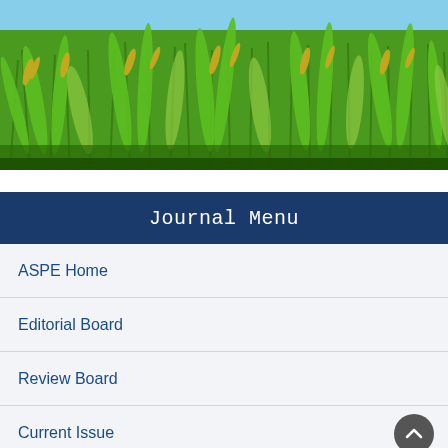[Figure (photo): Close-up photograph of green rice paddy plants with golden grain heads against a blue sky background]
Journal Menu
ASPE Home
Editorial Board
Review Board
Current Issue
Articles